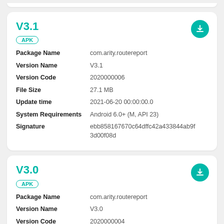V3.1
APK
| Field | Value |
| --- | --- |
| Package Name | com.arity.routereport |
| Version Name | V3.1 |
| Version Code | 2020000006 |
| File Size | 27.1 MB |
| Update time | 2021-06-20 00:00:00.0 |
| System Requirements | Android 6.0+ (M, API 23) |
| Signature | ebb858167670c64dffc42a433844ab9f3d00f08d |
V3.0
APK
| Field | Value |
| --- | --- |
| Package Name | com.arity.routereport |
| Version Name | V3.0 |
| Version Code | 2020000004 |
| File Size | 27.2 MB |